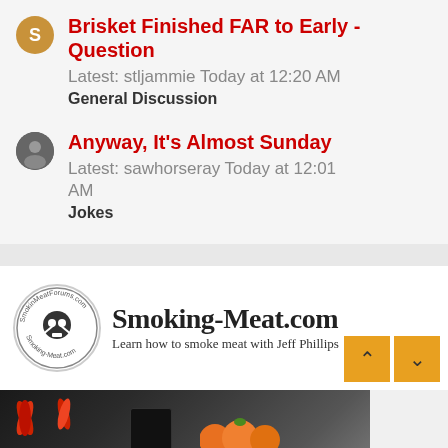Brisket Finished FAR to Early - Question
Latest: stljammie Today at 12:20 AM
General Discussion
Anyway, It's Almost Sunday
Latest: sawhorseray Today at 12:01 AM
Jokes
[Figure (logo): Smoking-Meat.com logo with circular badge on left and text 'Smoking-Meat.com / Learn how to smoke meat with Jeff Phillips' on right]
[Figure (photo): Blurred photo of food items including colorful vegetables/flowers and orange fruits on a dark background, with a reflected/faded version below]